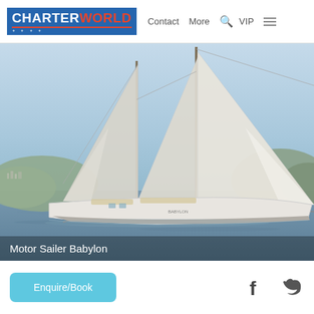CHARTER WORLD | Contact | More | VIP
[Figure (photo): Motor sailer yacht named Babylon sailing on calm water with full white sails raised, mountains and coastal town in background, blue sky]
Motor Sailer Babylon
Enquire/Book
[Figure (other): Facebook and Twitter social media icons]